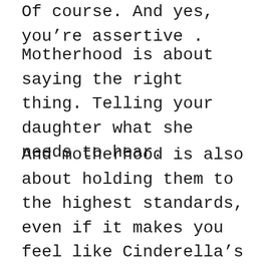Of course. And yes, you're assertive.
Motherhood is about saying the right thing. Telling your daughter what she needs to hear.
And motherhood is also about holding them to the highest standards, even if it makes you feel like Cinderella’s wicked stepmother. And it’s about inspiring them to harbor high expectations, but at the same time, to remember that they should pursue